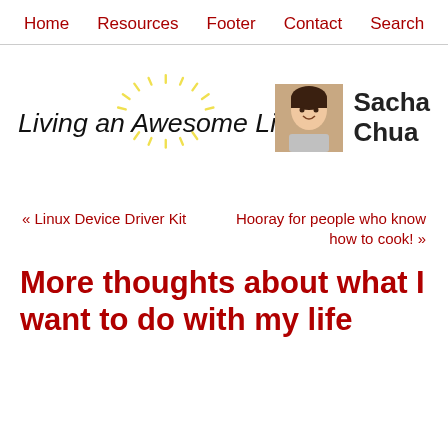Home   Resources   Footer   Contact   Search
[Figure (logo): Living an Awesome Life logo with handwritten-style text and sun rays, photo of Sacha Chua, and name 'Sacha Chua']
« Linux Device Driver Kit
Hooray for people who know how to cook! »
More thoughts about what I want to do with my life